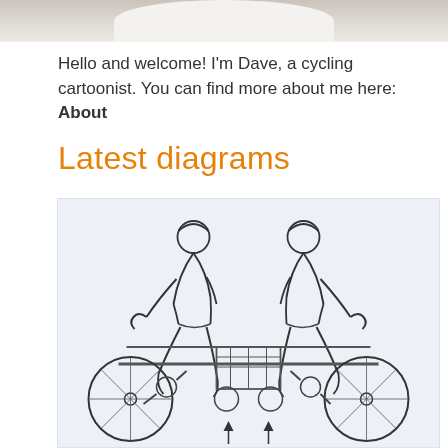[Figure (photo): Cropped bottom portion of a person wearing a white shirt, showing only the lower face/neck and shoulders area]
Hello and welcome! I'm Dave, a cycling cartoonist. You can find more about me here: About
Latest diagrams
[Figure (illustration): Line drawing illustration of a tandem bicycle with two cyclists facing away from each other (back-to-back), with arrows pointing upward at the bottom indicating some mechanical feature]